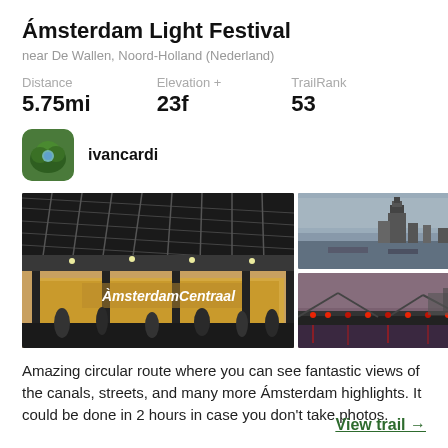Ámsterdam Light Festival
near De Wallen, Noord-Holland (Nederland)
Distance
5.75mi
Elevation +
23f
TrailRank
53
ivancardi
[Figure (photo): Three photos: main large photo of Amsterdam Centraal station interior/exterior at night, top-right photo of Amsterdam skyline with tower across water at dusk, bottom-right photo of a bridge with red lights at dusk]
Amazing circular route where you can see fantastic views of the canals, streets, and many more Ámsterdam highlights. It could be done in 2 hours in case you don't take photos.
View trail →